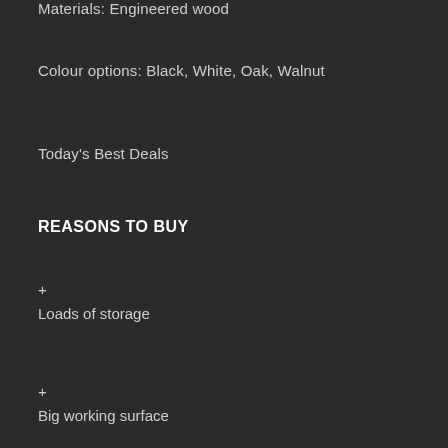Materials: Engineered wood
Colour options: Black, White, Oak, Walnut
Today's Best Deals
REASONS TO BUY
+ Loads of storage
+ Big working surface